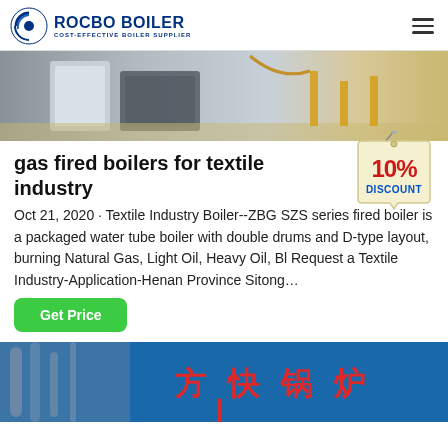ROCBO BOILER - COST-EFFECTIVE BOILER SUPPLIER
[Figure (photo): Industrial boilers in a factory setting, showing white and dark colored boiler units on a tiled floor with yellow metal supports]
gas fired boilers for textile industry
Oct 21, 2020 · Textile Industry Boiler--ZBG SZS series fired boiler is a packaged water tube boiler with double drums and D-type layout, burning Natural Gas, Light Oil, Heavy Oil, Bl Request a Textile Industry-Application-Henan Province Sitong…
[Figure (infographic): 10% DISCOUNT badge - a hanging tag shape with '10%' in large red text and 'DISCOUNT' in blue text on cream/yellow background]
Get Price
[Figure (photo): Blue industrial boiler with Chinese characters '方快锅炉' in red text, with pipes visible on the left side]